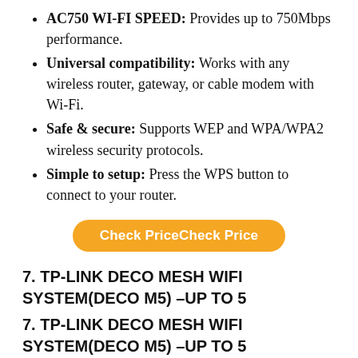AC750 WI-FI SPEED: Provides up to 750Mbps performance.
Universal compatibility: Works with any wireless router, gateway, or cable modem with Wi-Fi.
Safe & secure: Supports WEP and WPA/WPA2 wireless security protocols.
Simple to setup: Press the WPS button to connect to your router.
Check PriceCheck Price
7. TP-LINK DECO MESH WIFI SYSTEM(DECO M5) –UP TO 5
7. TP-LINK DECO MESH WIFI SYSTEM(DECO M5) –UP TO 5